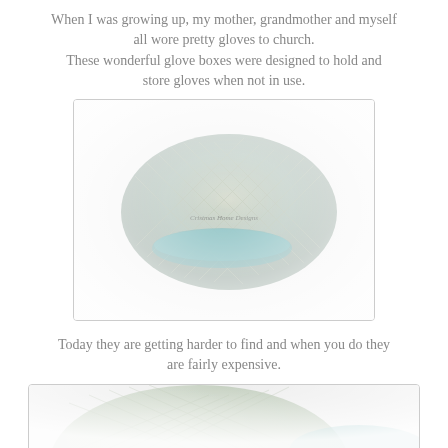When I was growing up, my mother, grandmother and myself all wore pretty gloves to church. These wonderful glove boxes were designed to hold and store gloves when not in use.
[Figure (photo): A quilted fabric glove box, light blue/cream colored with diamond quilting pattern, photographed at an angle on a white background with a soft vignette effect. A small text watermark reads 'Cristmas Home Designs'.]
Today they are getting harder to find and when you do they are fairly expensive.
[Figure (photo): Partial view of another glove box, cropped at the bottom of the page.]